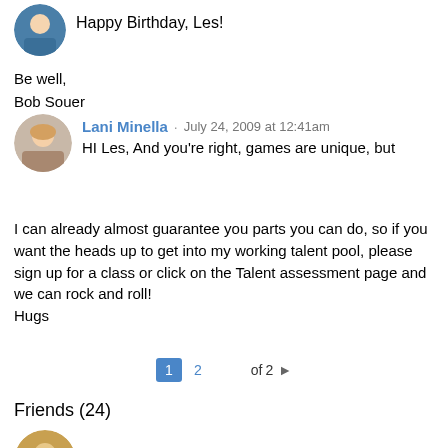[Figure (photo): Circular avatar photo of a person with blue shirt at top left]
Happy Birthday, Les!
Be well,
Bob Souer
[Figure (photo): Circular avatar photo of Lani Minella]
Lani Minella · July 24, 2009 at 12:41am
HI Les, And you're right, games are unique, but I can already almost guarantee you parts you can do, so if you want the heads up to get into my working talent pool, please sign up for a class or click on the Talent assessment page and we can rock and roll!
Hugs
1  2   of  2  ▶
Friends (24)
[Figure (photo): Circular avatar photo at bottom left]